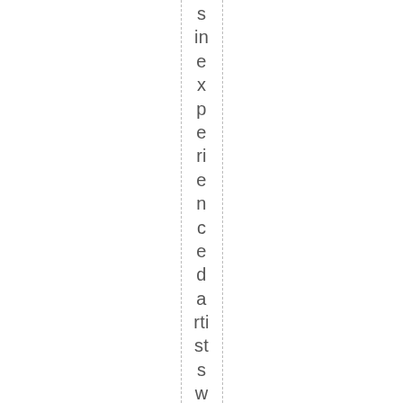s in e x p e ri e n c e d a rti st s w ill b e d el ig ht e